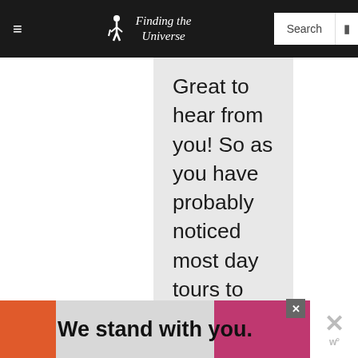Finding the Universe — Search
Great to hear from you! So as you have probably noticed most day tours to Stonehenge depart from London. I wasn't able to find a tour company currently operating tours from Bristol to Stonehenge, the
WHAT'S NEXT → 2 Weeks in the UK – My...
We stand with you.